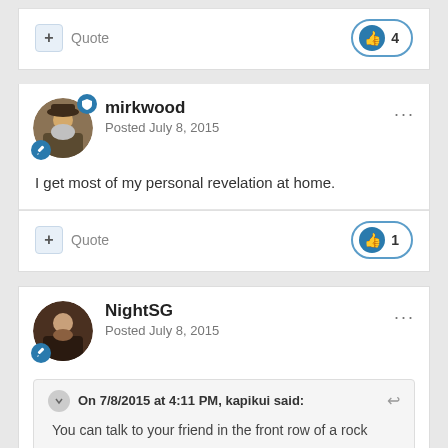Quote  4
mirkwood
Posted July 8, 2015
I get most of my personal revelation at home.
Quote  1
NightSG
Posted July 8, 2015
On 7/8/2015 at 4:11 PM, kapikui said:
You can talk to your friend in the front row of a rock